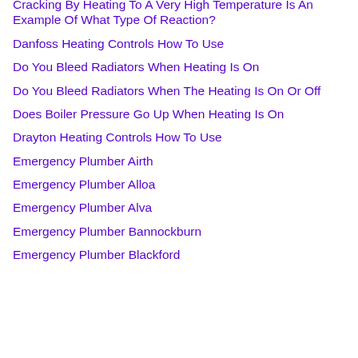Cracking By Heating To A Very High Temperature Is An Example Of What Type Of Reaction?
Danfoss Heating Controls How To Use
Do You Bleed Radiators When Heating Is On
Do You Bleed Radiators When The Heating Is On Or Off
Does Boiler Pressure Go Up When Heating Is On
Drayton Heating Controls How To Use
Emergency Plumber Airth
Emergency Plumber Alloa
Emergency Plumber Alva
Emergency Plumber Bannockburn
Emergency Plumber Blackford